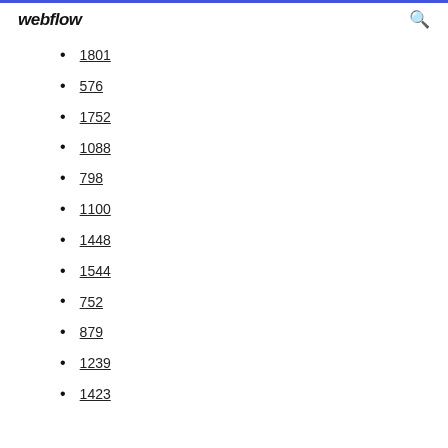webflow
1801
576
1752
1088
798
1100
1448
1544
752
879
1239
1423